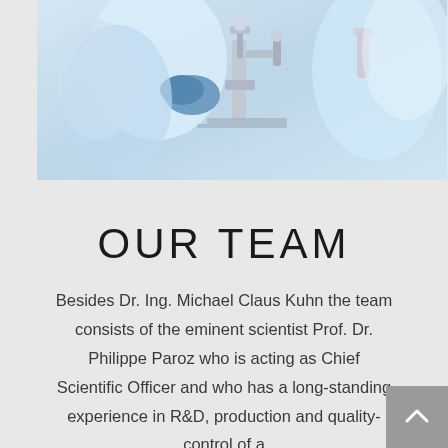[Figure (photo): Laboratory photo showing scientists in blue gloves and lab coats working with microscopes and scientific equipment on a light blue background]
OUR TEAM
Besides Dr. Ing. Michael Claus Kuhn the team consists of the eminent scientist Prof. Dr. Philippe Paroz who is acting as Chief Scientific Officer and who has a long-standing experience in R&D, production and quality-control of a